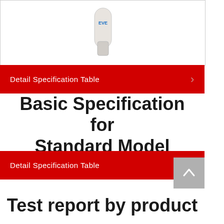[Figure (photo): Product photo of a small USB-style device (white/beige) with blue EVE logo on a white background]
Detail Specification Table
Basic Specification for Standard Model
Detail Specification Table
Test report by product